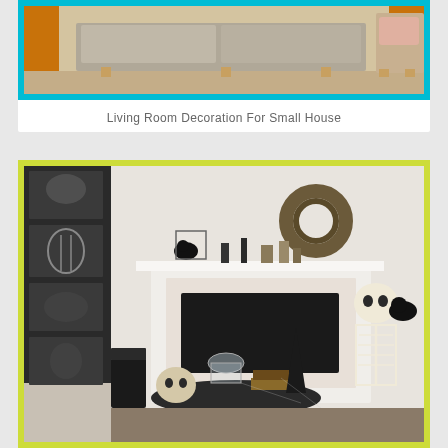[Figure (photo): Living room interior with gray sofa and wooden furniture on beige carpet]
Living Room Decoration For Small House
[Figure (photo): Halloween decorated room with skeleton, crows, anatomical charts, and spooky mantel decorations]